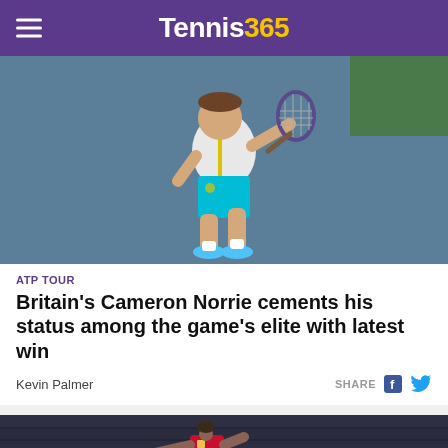Tennis365
[Figure (photo): Tennis player mid-swing wearing white top and teal shorts on a blue hard court]
ATP TOUR
Britain's Cameron Norrie cements his status among the game's elite with latest win
Kevin Palmer    SHARE
[Figure (photo): Soccer/football player in red Liverpool kit pointing on a dark crowded stadium background]